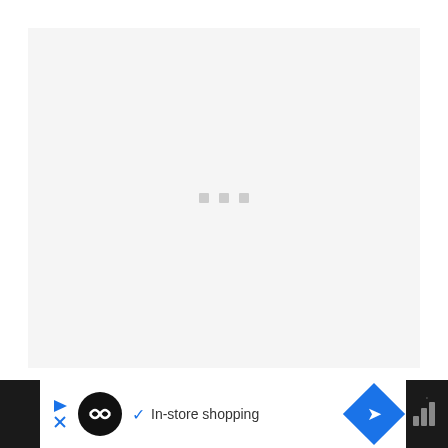[Figure (other): Loading placeholder area with three gray dots on a light gray background, representing a screenshot or image that is loading]
6) QuickBooks Self-Employed
[Figure (other): Advertisement bar at the bottom: dark background with white center section containing a black circular icon with infinity-like logo, a play/close button, a checkmark with 'In-store shopping' text, and a blue diamond navigation arrow. Right side shows dark background with bar chart icon.]